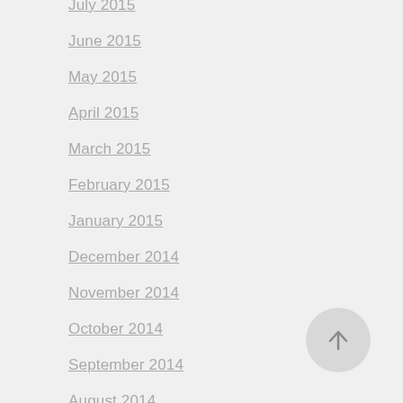July 2015
June 2015
May 2015
April 2015
March 2015
February 2015
January 2015
December 2014
November 2014
October 2014
September 2014
August 2014